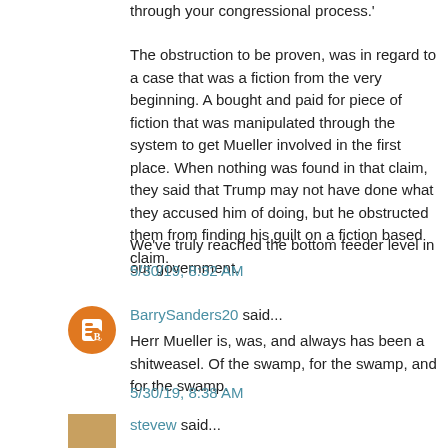through your congressional process.'
The obstruction to be proven, was in regard to a case that was a fiction from the very beginning. A bought and paid for piece of fiction that was manipulated through the system to get Mueller involved in the first place. When nothing was found in that claim, they said that Trump may not have done what they accused him of doing, but he obstructed them from finding his guilt on a fiction based claim.
We've truly reached the bottom feeder level in our government.
5/30/19, 8:32 AM
BarrySanders20 said...
Herr Mueller is, was, and always has been a shitweasel. Of the swamp, for the swamp, and for the swamp.
5/30/19, 8:38 AM
stevew said...